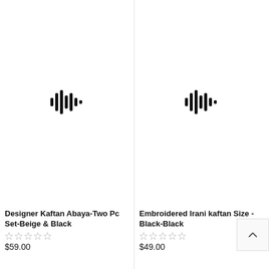[Figure (photo): Product image placeholder with audio waveform icon for Designer Kaftan Abaya-Two Pc Set-Beige & Black]
Designer Kaftan Abaya-Two Pc Set-Beige & Black
★★★★★ (empty stars rating)
$59.00
[Figure (photo): Product image placeholder with audio waveform icon for Embroidered Irani kaftan Size - Black-Black]
Embroidered Irani kaftan Size - Black-Black
★★★★★ (empty stars rating)
$49.00